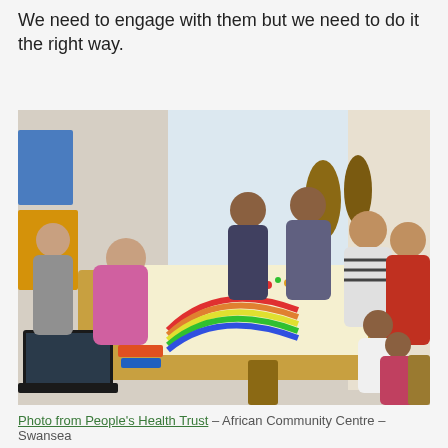We need to engage with them but we need to do it the right way.
[Figure (photo): Group of adults and children gathered around a large table, working on a colorful art project with rainbows and bright colors. A laptop is visible in the foreground. The setting appears to be a community centre.]
Photo from People's Health Trust – African Community Centre – Swansea